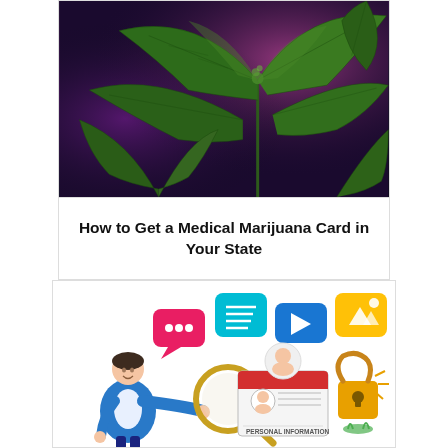[Figure (photo): Close-up photo of cannabis plant with large green leaves against a dark purple/blue background]
How to Get a Medical Marijuana Card in Your State
[Figure (illustration): Flat style illustration showing a man using a magnifying glass to examine personal information on a screen, with various social media and document icons floating around including a person avatar, chat bubbles, video play button, document icon, and an unlocked padlock. Text reads 'PERSONAL INFORMATION'.]